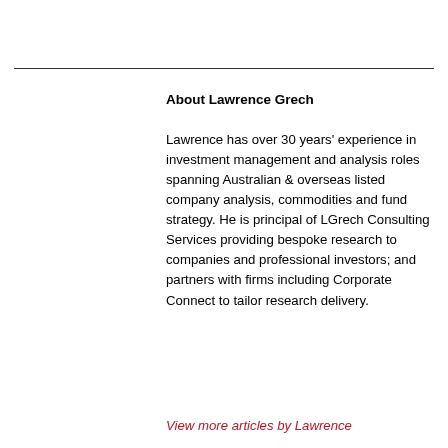About Lawrence Grech
Lawrence has over 30 years' experience in investment management and analysis roles spanning Australian & overseas listed company analysis, commodities and fund strategy. He is principal of LGrech Consulting Services providing bespoke research to companies and professional investors; and partners with firms including Corporate Connect to tailor research delivery.
View more articles by Lawrence